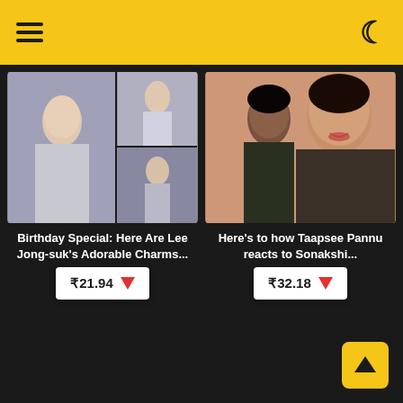Navigation header with hamburger menu and dark mode toggle
[Figure (photo): Collage of Korean actor Lee Jong-suk in various poses and outfits]
Birthday Special: Here Are Lee Jong-suk's Adorable Charms...
₹21.94 ▼
[Figure (photo): Bollywood actresses Taapsee Pannu and Sonakshi Sinha from a movie poster]
Here's to how Taapsee Pannu reacts to Sonakshi...
₹32.18 ▼